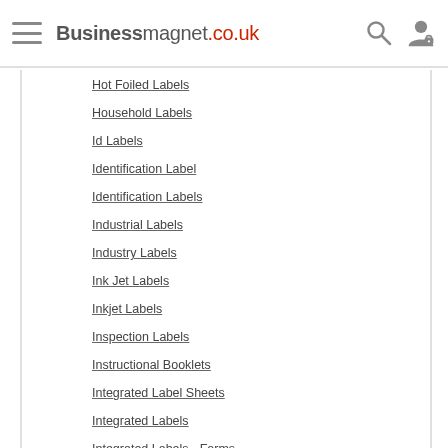Businessmagnet.co.uk
Hot Foiled Labels
Household Labels
Id Labels
Identification Label
Identification Labels
Industrial Labels
Industry Labels
Ink Jet Labels
Inkjet Labels
Inspection Labels
Instructional Booklets
Integrated Label Sheets
Integrated Labels
Integrated Labels - Forms
Intergrated Labels - Forms
Inventory Asset Labels